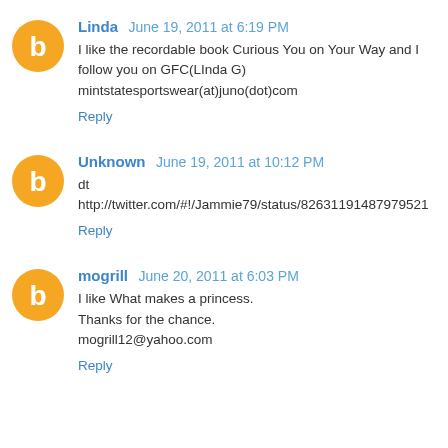Linda  June 19, 2011 at 6:19 PM
I like the recordable book Curious You on Your Way and I follow you on GFC(LInda G)
mintstatesportswear(at)juno(dot)com
Reply
Unknown  June 19, 2011 at 10:12 PM
dt
http://twitter.com/#!/Jammie79/status/82631191487979521
Reply
mogrill  June 20, 2011 at 6:03 PM
I like What makes a princess.
Thanks for the chance.
mogrill12@yahoo.com
Reply